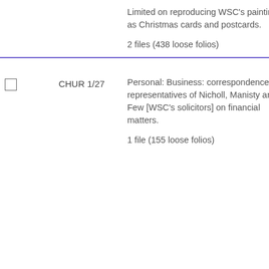|  | Reference | Description |
| --- | --- | --- |
|  |  | Limited on reproducing WSC's paintings as Christmas cards and postcards.

2 files (438 loose folios) |
| ☐ | CHUR 1/27 | Personal: Business: correspondence with representatives of Nicholl, Manisty and Few [WSC's solicitors] on financial matters.

1 file (155 loose folios) |